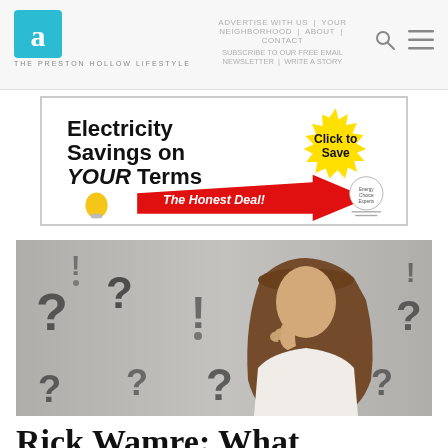THE PRESTON HOLLOW LIFESTYLE
[Figure (illustration): Advertisement banner: 'Electricity Savings on YOUR Terms — The Honest Deal! Click to Save' with a red arrow, yellow starburst, light bulb, and Energy Choice Experts logo]
[Figure (photo): Woman with long brown hair in white shirt surrounded by question marks and exclamation marks on grey background, thinking pose]
Rick Wamre: What